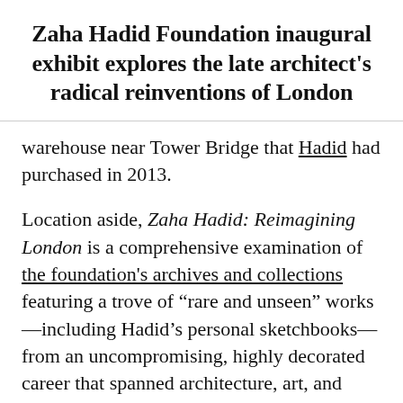Zaha Hadid Foundation inaugural exhibit explores the late architect's radical reinventions of London
warehouse near Tower Bridge that Hadid had purchased in 2013.
Location aside, Zaha Hadid: Reimagining London is a comprehensive examination of the foundation's archives and collections featuring a trove of "rare and unseen" works—including Hadid's personal sketchbooks—from an uncompromising, highly decorated career that spanned architecture, art, and design. Hadid